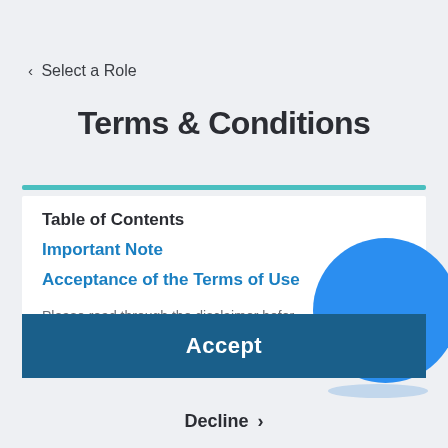< Select a Role
Terms & Conditions
Table of Contents
Important Note
Acceptance of the Terms of Use
Please read through the disclaimer befor...e
Accept
Decline >